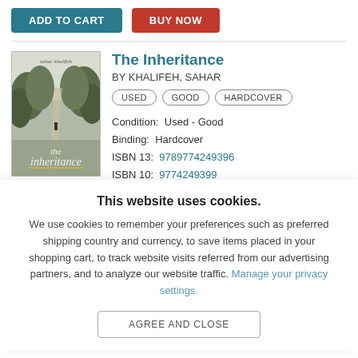[Figure (screenshot): ADD TO CART button (teal) and BUY NOW button (red) side by side]
[Figure (photo): Book cover of The Inheritance by Sahar Khalifeh, showing a path through trees with a figure in the distance, black-and-white tones]
The Inheritance
BY KHALIFEH, SAHAR
USED  GOOD  HARDCOVER
Condition:  Used - Good
Binding:  Hardcover
ISBN 13:  9789774249396
ISBN 10:  9774249399
This website uses cookies.
We use cookies to remember your preferences such as preferred shipping country and currency, to save items placed in your shopping cart, to track website visits referred from our advertising partners, and to analyze our website traffic. Manage your privacy settings.
AGREE AND CLOSE